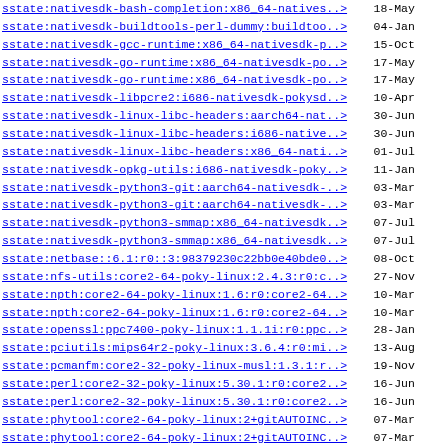sstate:nativesdk-bash-completion:x86_64-natives..> 18-May
sstate:nativesdk-buildtools-perl-dummy:buildtoo..> 04-Jan
sstate:nativesdk-gcc-runtime:x86_64-nativesdk-p..> 15-Oct
sstate:nativesdk-go-runtime:x86_64-nativesdk-po..> 17-May
sstate:nativesdk-go-runtime:x86_64-nativesdk-po..> 17-May
sstate:nativesdk-libpcre2:i686-nativesdk-pokysd..> 10-Apr
sstate:nativesdk-linux-libc-headers:aarch64-nat..> 30-Jun
sstate:nativesdk-linux-libc-headers:i686-native..> 30-Jun
sstate:nativesdk-linux-libc-headers:x86_64-nati..> 01-Jul
sstate:nativesdk-opkg-utils:i686-nativesdk-poky..> 11-Jan
sstate:nativesdk-python3-git:aarch64-nativesdk-..> 03-Mar
sstate:nativesdk-python3-git:aarch64-nativesdk-..> 03-Mar
sstate:nativesdk-python3-smmap:x86_64-nativesdk..> 07-Jul
sstate:nativesdk-python3-smmap:x86_64-nativesdk..> 07-Jul
sstate:netbase::6.1:r0::3:98379230c22bb0e40bde0..> 08-Oct
sstate:nfs-utils:core2-64-poky-linux:2.4.3:r0:c..> 27-Nov
sstate:npth:core2-64-poky-linux:1.6:r0:core2-64..> 10-Mar
sstate:npth:core2-64-poky-linux:1.6:r0:core2-64..> 10-Mar
sstate:openssl:ppc7400-poky-linux:1.1.1i:r0:ppc..> 28-Jan
sstate:pciutils:mips64r2-poky-linux:3.6.4:r0:mi..> 13-Aug
sstate:pcmanfm:core2-32-poky-linux-musl:1.3.1:r..> 19-Nov
sstate:perl:core2-32-poky-linux:5.30.1:r0:core2..> 16-Jun
sstate:perl:core2-32-poky-linux:5.30.1:r0:core2..> 16-Jun
sstate:phytool:core2-64-poky-linux:2+gitAUTOINC..> 07-Mar
sstate:phytool:core2-64-poky-linux:2+gitAUTOINC..> 07-Mar
sstate:psplash:armv7vet2hf-neon-poky-linux-gnue..> 05-Nov
sstate:ptest-runner:core2-32-poky-linux:2.4.0+g..> 21-Apr
sstate:puzzles:core2-32-poky-linux:0.0+gitAUTOI..> 17-Dec
sstate:puzzles:core2-32-poky-linux:0.0+gitAUTOI..> 17-Dec
sstate:python3-dbus:cortexa8hf-neon-poky-linux-..> 21-Mar